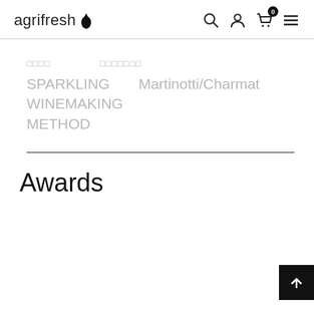agrifresh
□□□□   □□□□□□□
SPARKLING   Martinotti/Charmat
WINEMAKING
METHOD
Awards